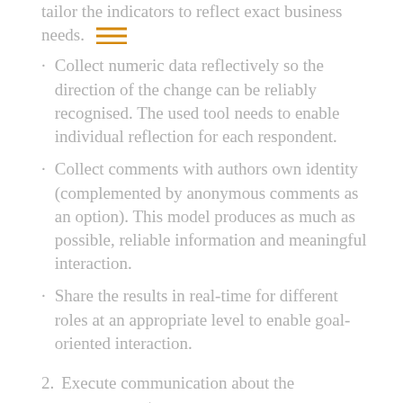tailor the indicators to reflect exact business needs.
Collect numeric data reflectively so the direction of the change can be reliably recognised. The used tool needs to enable individual reflection for each respondent.
Collect comments with authors own identity (complemented by anonymous comments as an option). This model produces as much as possible, reliable information and meaningful interaction.
Share the results in real-time for different roles at an appropriate level to enable goal-oriented interaction.
Execute communication about the measurement process.
Instructions of change measurement